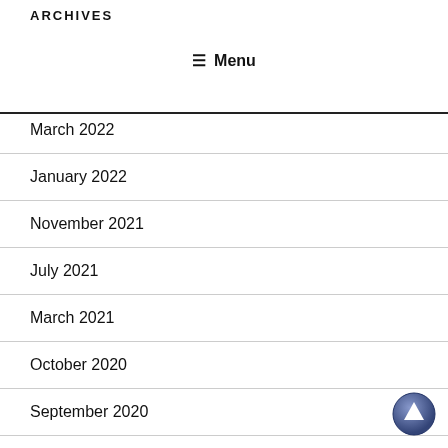ARCHIVES
≡ Menu
March 2022
January 2022
November 2021
July 2021
March 2021
October 2020
September 2020
March 2020
February 2020